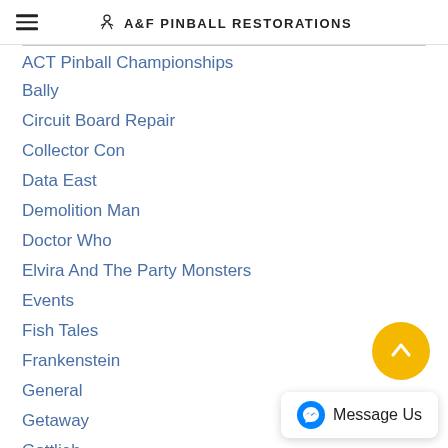A&F PINBALL RESTORATIONS
ACT Pinball Championships
Bally
Circuit Board Repair
Collector Con
Data East
Demolition Man
Doctor Who
Elvira And The Party Monsters
Events
Fish Tales
Frankenstein
General
Getaway
Gottlieb
Guns N Roses
Johnny Mnemonic
Judge Dredd
Jurassic Park